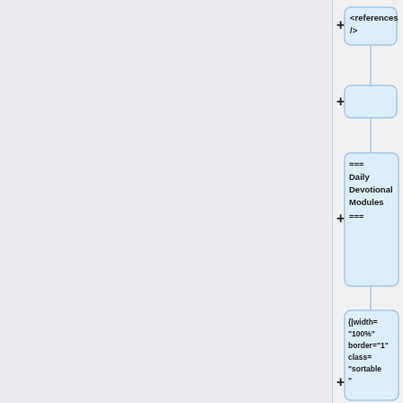[Figure (flowchart): A vertical flowchart/tree structure showing wiki markup nodes connected by plus signs. Each node is a rounded rectangle with light blue background containing code/text snippets: '<references />', an empty node, '=== Daily Devotional Modules ===', '{|width="100%" border="1" class="sortable"', '!width="7%"|Module Name', '!width="7%"|Updated', '!width="25%"|Does the module appear complete?'. The left ~82% of the page shows a grey panel. A vertical blue line divides the panel from the node list on the right.]